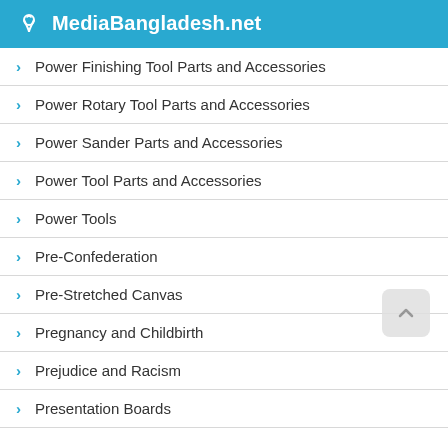MediaBangladesh.net
Power Finishing Tool Parts and Accessories
Power Rotary Tool Parts and Accessories
Power Sander Parts and Accessories
Power Tool Parts and Accessories
Power Tools
Pre-Confederation
Pre-Stretched Canvas
Pregnancy and Childbirth
Prejudice and Racism
Presentation Boards